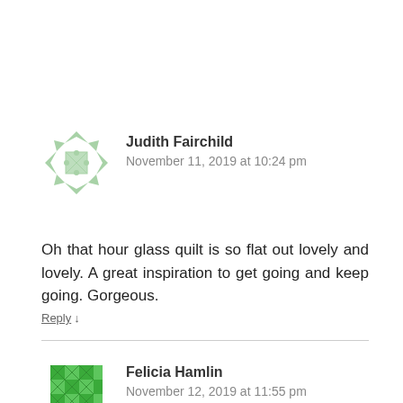[Figure (illustration): Green geometric avatar icon for Judith Fairchild]
Judith Fairchild
November 11, 2019 at 10:24 pm
Oh that hour glass quilt is so flat out lovely and lovely. A great inspiration to get going and keep going. Gorgeous.
Reply ↓
[Figure (illustration): Green geometric avatar icon for Felicia Hamlin]
Felicia Hamlin
November 12, 2019 at 11:55 pm